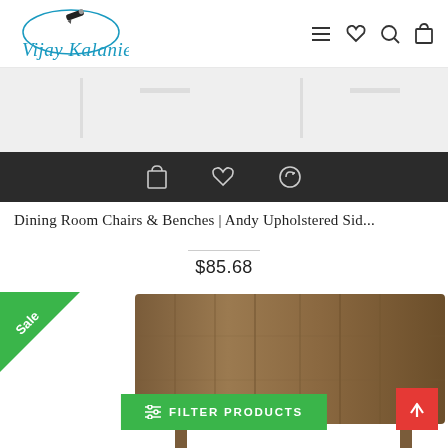[Figure (logo): Vijay Kalanie logo with pen/quill icon and cursive text in teal/blue]
[Figure (screenshot): Dark toolbar with shopping bag, heart, and refresh/exchange icons]
Dining Room Chairs & Benches | Andy Upholstered Sid...
$85.68
[Figure (photo): Wooden dining chair with rustic wood back and seat, Sale badge in green on top-left corner]
[Figure (other): Green FILTER PRODUCTS button with sliders icon]
[Figure (other): Red scroll-to-top button with upward arrow]